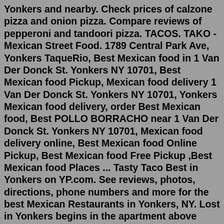Yonkers and nearby. Check prices of calzone pizza and onion pizza. Compare reviews of pepperoni and tandoori pizza. TACOS. TAKO - Mexican Street Food. 1789 Central Park Ave, Yonkers TaqueRio, Best Mexican food in 1 Van Der Donck St. Yonkers NY 10701, Best Mexican food Pickup, Mexican food delivery 1 Van Der Donck St. Yonkers NY 10701, Yonkers Mexican food delivery, order Best Mexican food, Best POLLO BORRACHO near 1 Van Der Donck St. Yonkers NY 10701, Mexican food delivery online, Best Mexican food Online Pickup, Best Mexican food Free Pickup ,Best Mexican food Places ... Tasty Taco Best in Yonkers on YP.com. See reviews, photos, directions, phone numbers and more for the best Mexican Restaurants in Yonkers, NY. Lost in Yonkers begins in the apartment above "Kurnitz's Kandy Store," where Grandma and Bella Kurnitz live. It is a hot day in August, and Jay and Arty Kurnitz sit waiting for their father in one of the rooms of the apartment. They soon find out that this is no standard visit and that their father, Eddie, is... Best